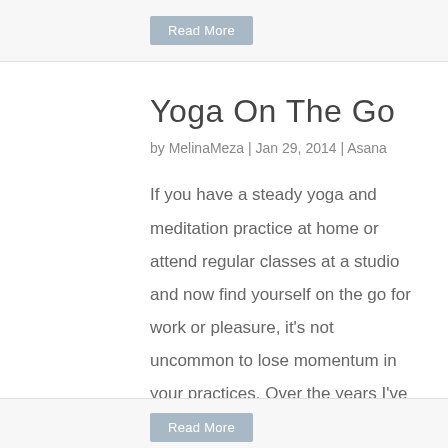Read More
Yoga On The Go
by MelinaMeza | Jan 29, 2014 | Asana
If you have a steady yoga and meditation practice at home or attend regular classes at a studio and now find yourself on the go for work or pleasure, it's not uncommon to lose momentum in your practices. Over the years I've started traveling more as a yoga teacher and...
Read More